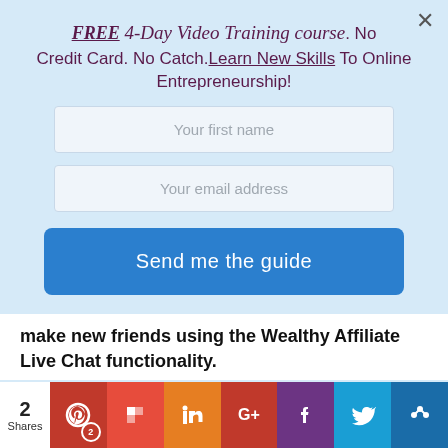FREE 4-Day Video Training course. No Credit Card. No Catch. Learn New Skills To Online Entrepreneurship!
[Figure (screenshot): Form field placeholder: Your first name]
[Figure (screenshot): Form field placeholder: Your email address]
[Figure (screenshot): Send me the guide button]
make new friends using the Wealthy Affiliate Live Chat functionality.
2 Shares | Pinterest | Flipboard | LinkedIn | Google+ | Facebook | Twitter